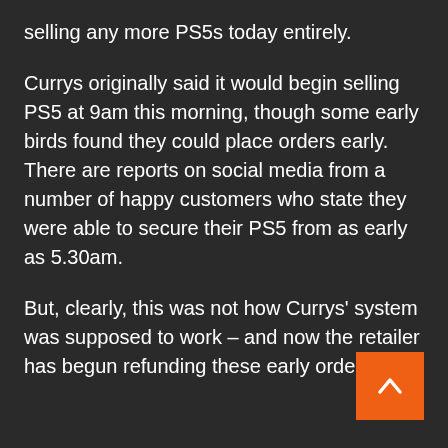selling any more PS5s today entirely.
Currys originally said it would begin selling PS5 at 9am this morning, though some early birds found they could place orders early. There are reports on social media from a number of happy customers who state they were able to secure their PS5 from as early as 5.30am.
But, clearly, this was not how Currys' system was supposed to work – and now the retailer has begun refunding these early orders.